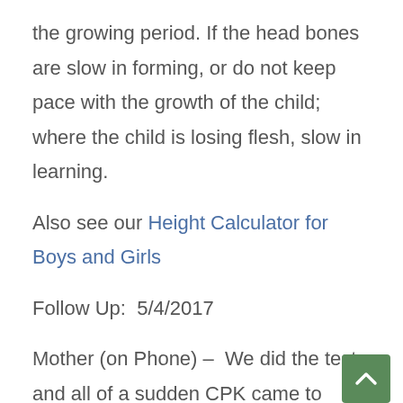the growing period. If the head bones are slow in forming, or do not keep pace with the growth of the child; where the child is losing flesh, slow in learning.
Also see our Height Calculator for Boys and Girls
Follow Up:  5/4/2017
Mother (on Phone) –  We did the test and all of a sudden CPK came to 175. We are in shock sir, my child is now cycling, walkin